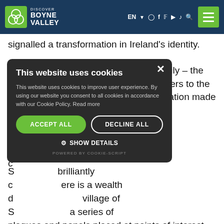[Figure (logo): Discover Boyne Valley logo with navigation bar including EN language selector, social media icons, and green hamburger menu button on dark blue background]
signalled a transformation in Ireland's identity.
For over three hundred years, one family – the Conynghams – have added new chapters to the town's fascinating story as each generation made its m...tens of t...stle to enjoy t...usicians. D...s unique c...
S...brilliantly c...ere is a wealth d...village of S...a series of plaques and panels placed at points of interest along the route.
[Figure (screenshot): Cookie consent modal dialog with dark background. Title: 'This website uses cookies'. Body text explains cookie usage. Two buttons: 'ACCEPT ALL' (green) and 'DECLINE ALL' (outlined). 'SHOW DETAILS' link. 'POWERED BY COOKIE-SCRIPT' footer. Close X button top right.]